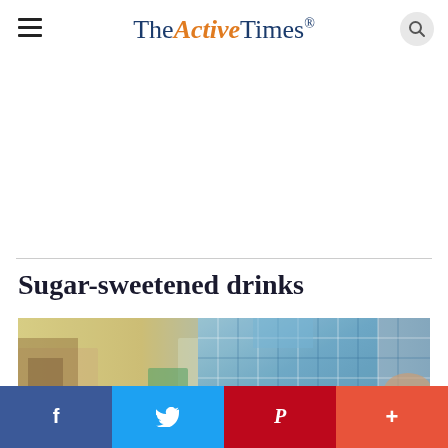The Active Times
Sugar-sweetened drinks
[Figure (photo): A blurred photo of a person in a blue plaid shirt, background shows a kitchen/cafe setting. Person appears to be holding something.]
Social sharing bar: Facebook, Twitter, Pinterest, More